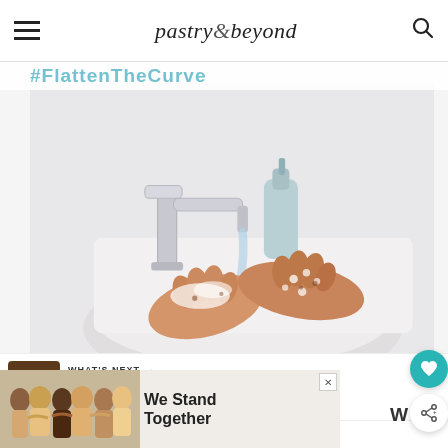pastry & beyond
[Figure (photo): Person washing hands with soap at a modern chrome faucet sink, with a blue soap dispenser in the background. Text overlay reads #FlattenTheCurve]
[Figure (photo): What's Next thumbnail showing hot chocolate]
[Figure (photo): Advertisement banner showing people standing together with text 'We Stand Together' and Walmart logo]